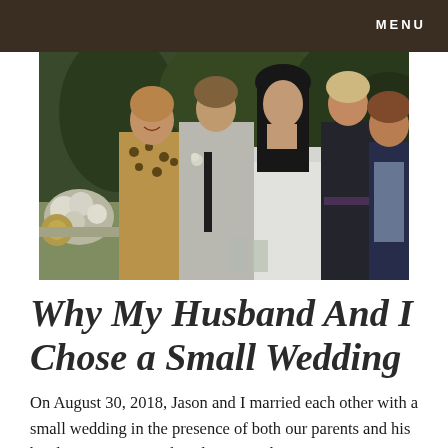MENU
[Figure (photo): Wedding photo showing a group of people including a groom in a light gray suit with black tie and boutonniere, a bride in a white off-shoulder dress with dark hair, a woman in a black sleeveless dress, a man in a dark blazer, and another woman in a leopard print top, gathered outdoors near floral arrangements.]
Why My Husband And I Chose a Small Wedding
On August 30, 2018, Jason and I married each other with a small wedding in the presence of both our parents and his brother in a vintage chapel. During the